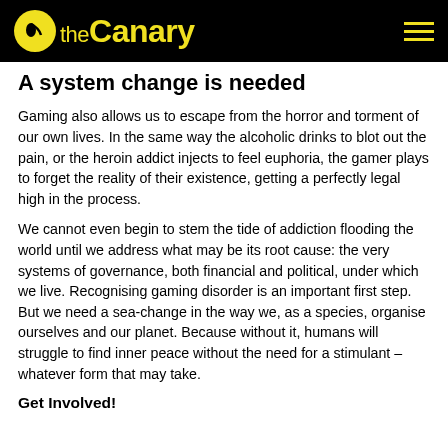the Canary
A system change is needed
Gaming also allows us to escape from the horror and torment of our own lives. In the same way the alcoholic drinks to blot out the pain, or the heroin addict injects to feel euphoria, the gamer plays to forget the reality of their existence, getting a perfectly legal high in the process.
We cannot even begin to stem the tide of addiction flooding the world until we address what may be its root cause: the very systems of governance, both financial and political, under which we live. Recognising gaming disorder is an important first step. But we need a sea-change in the way we, as a species, organise ourselves and our planet. Because without it, humans will struggle to find inner peace without the need for a stimulant – whatever form that may take.
Get Involved!